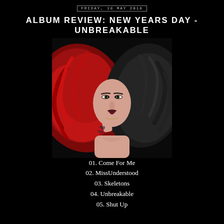FRIDAY, 18 MAY 2018
ALBUM REVIEW: NEW YEARS DAY - UNBREAKABLE
[Figure (photo): Album cover for 'Unbreakable' by New Years Day — a woman with half red, half black dramatic flowing hair lying back, heavily tattooed arm raised to her chin, dark makeup, against a black background.]
01. Come For Me
02. MissUnderstood
03. Skeletons
04. Unbreakable
05. Shut Up